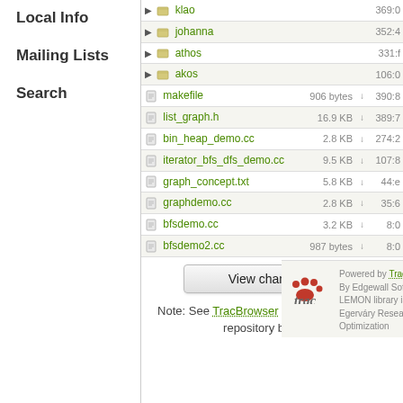Local Info
Mailing Lists
Search
| Name | Size |  | Rev |
| --- | --- | --- | --- |
| klao |  |  | 369:0 |
| johanna |  |  | 352:4 |
| athos |  |  | 331:f |
| akos |  |  | 106:0 |
| makefile | 906 bytes | ↓ | 390:8 |
| list_graph.h | 16.9 KB | ↓ | 389:7 |
| bin_heap_demo.cc | 2.8 KB | ↓ | 274:2 |
| iterator_bfs_dfs_demo.cc | 9.5 KB | ↓ | 107:8 |
| graph_concept.txt | 5.8 KB | ↓ | 44:e |
| graphdemo.cc | 2.8 KB | ↓ | 35:6 |
| bfsdemo.cc | 3.2 KB | ↓ | 8:0 |
| bfsdemo2.cc | 987 bytes | ↓ | 8:0 |
View changes...
Note: See TracBrowser for help on using the repository browser.
Powered by Trac 1.2.3 | The LEMON library is copyright © 2003-2018 by the Egerváry Research Group on Combinatorial Optimization. By Edgewall Software.